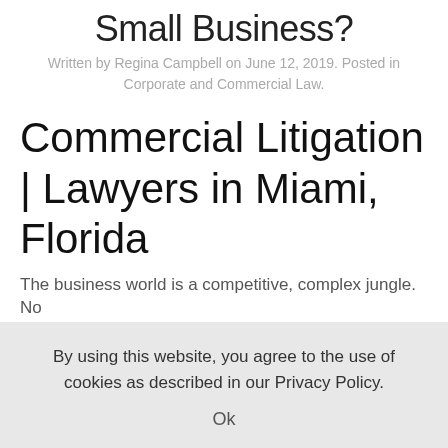Small Business?
Written by Regina Campbell on June 12, 2019. Posted in Corporate and Commercial Law.
Commercial Litigation | Lawyers in Miami, Florida
The business world is a competitive, complex jungle. No
By using this website, you agree to the use of cookies as described in our Privacy Policy.
Ok